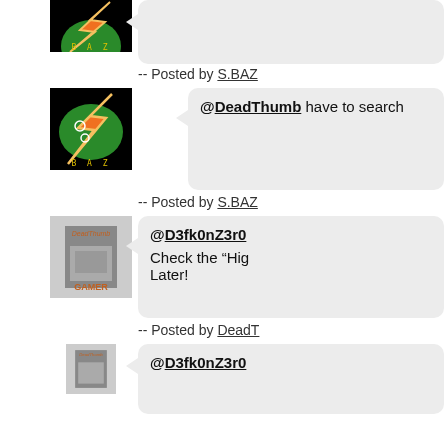[Figure (screenshot): Partial avatar image at top: BAZ logo with green and orange lightning bolt on black background, partially cropped]
-- Posted by S.BAZ
[Figure (screenshot): Avatar image: BAZ logo with green circle and orange lightning bolt on black background, letters B A Z in yellow at bottom]
@DeadThumb have to search
-- Posted by S.BAZ
[Figure (screenshot): Avatar image: DeadThumb Gamer - black and white photo of hands, text DeadThumb and GAMER in orange]
@D3fk0nZ3r0 Check the "Hig Later!
-- Posted by DeadT
[Figure (screenshot): Partial avatar image at bottom: DeadThumb Gamer - same avatar, partially cropped]
@D3fk0nZ3r0